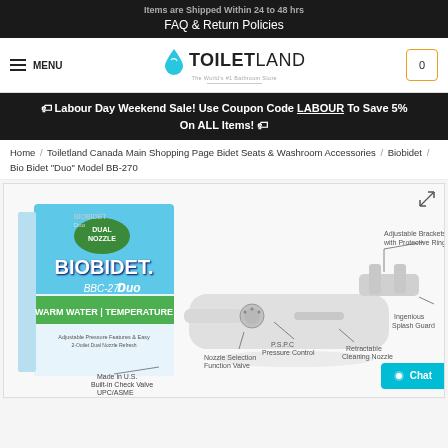FAQ & Return Policies
[Figure (logo): ToiletLand logo with shopping cart icon and hamburger menu]
🏷 Labour Day Weekend Sale! Use Coupon Code LABOUR To Save 5% On ALL Items! 🏷
Home / Toiletland Canada Main Shopping Page Bidet Seats & Washroom Accessories / Biobidet / Bio Bidet "Duo" Model BB-270
[Figure (photo): BioBidet BBC-270 Duo product photo showing the bidet attachment device with labeled parts: Adjustable Brackets with Protective Rings, Ingenious Splash Guard, P.S.P.C Pressure Control, Nozzle Selection Function Valve, Retractable Cleaning Nozzle, Made in U.S. Built-in Check Valve UPC/ASME. Also shows the product box.]